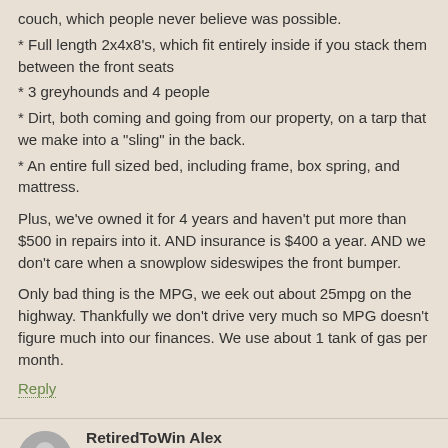couch, which people never believe was possible.
* Full length 2x4x8's, which fit entirely inside if you stack them between the front seats
* 3 greyhounds and 4 people
* Dirt, both coming and going from our property, on a tarp that we make into a "sling" in the back.
* An entire full sized bed, including frame, box spring, and mattress.
Plus, we've owned it for 4 years and haven't put more than $500 in repairs into it. AND insurance is $400 a year. AND we don't care when a snowplow sideswipes the front bumper.
Only bad thing is the MPG, we eek out about 25mpg on the highway. Thankfully we don't drive very much so MPG doesn't figure much into our finances. We use about 1 tank of gas per month.
Reply
RetiredToWin Alex
April 29, 2015
Hey, Mr. Frugalwoods, it's not just vans that can work as major load haulers.